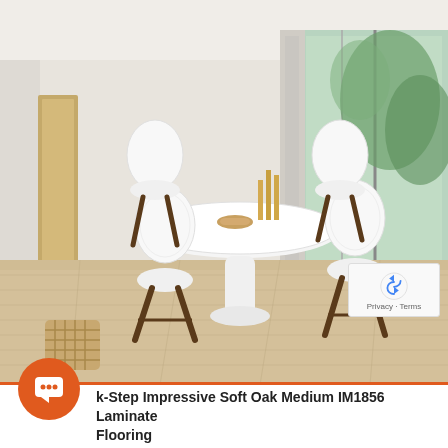[Figure (photo): Interior room photo showing a modern dining area with white tulip-style round table and white Eames-style chairs with dark wooden legs, set on light beige/cream laminate wood flooring. Large glass doors/windows in the background show greenery outside. A woven basket/pouf is visible on the left. The flooring shows the product being advertised - Quick-Step Impressive Soft Oak Medium IM1856 Laminate Flooring.]
Quick-Step Impressive Soft Oak Medium IM1856 Laminate Flooring